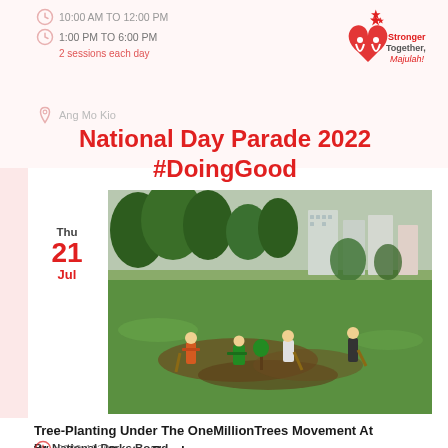10:00 AM TO 12:00 PM
1:00 PM TO 6:00 PM
2 sessions each day
[Figure (logo): Stronger Together Majulah logo with red heart and stars]
Ang Mo Kio
National Day Parade 2022 #DoingGood
Thu 21 Jul
[Figure (photo): People planting trees in a green field with buildings in background]
Tree-Planting Under The OneMillionTrees Movement At Woodlands Centre Road
By National Parks Board
0900-1030
Woodlands Centre Road